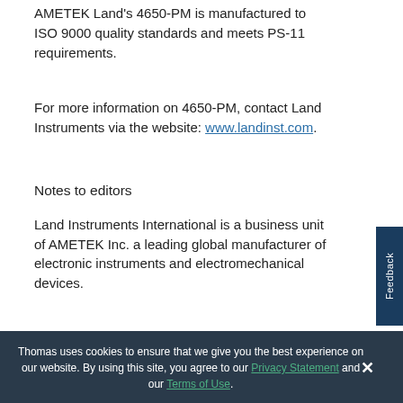AMETEK Land's 4650-PM is manufactured to ISO 9000 quality standards and meets PS-11 requirements.
For more information on 4650-PM, contact Land Instruments via the website: www.landinst.com.
Notes to editors
Land Instruments International is a business unit of AMETEK Inc. a leading global manufacturer of electronic instruments and electromechanical devices.
Thomas uses cookies to ensure that we give you the best experience on our website. By using this site, you agree to our Privacy Statement and our Terms of Use.